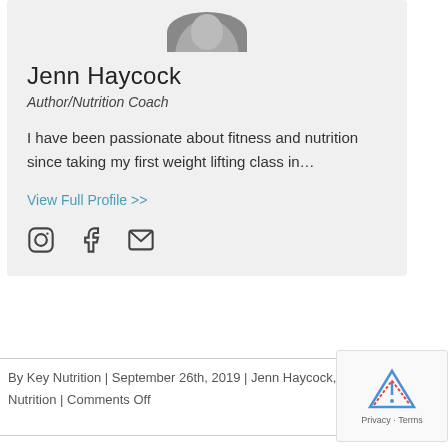[Figure (photo): Partial circular photo of Jenn Haycock at top of card]
Jenn Haycock
Author/Nutrition Coach
I have been passionate about fitness and nutrition since taking my first weight lifting class in…
View Full Profile >>
[Figure (infographic): Social media icons: Instagram, Facebook, Email]
By Key Nutrition | September 26th, 2019 | Jenn Haycock, Nutrition | Comments Off